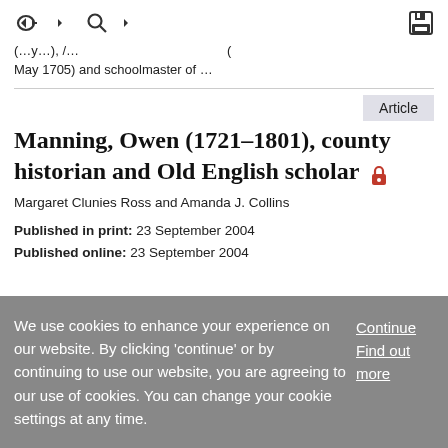(navigation icons: back, search, save)
(...) /, ... ( May 1705) and schoolmaster of ...
Article
Manning, Owen (1721–1801), county historian and Old English scholar 🔒
Margaret Clunies Ross and Amanda J. Collins
Published in print: 23 September 2004
Published online: 23 September 2004
We use cookies to enhance your experience on our website. By clicking 'continue' or by continuing to use our website, you are agreeing to our use of cookies. You can change your cookie settings at any time.